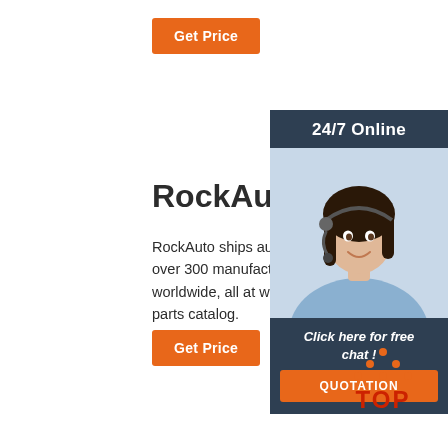[Figure (other): Orange 'Get Price' button at top]
RockAuto
RockAuto ships auto parts and body parts from over 300 manufacturers to customers' doors worldwide, all at warehouse prices. Easy to use parts catalog.
[Figure (other): Sidebar widget with '24/7 Online' header, customer service agent photo, 'Click here for free chat!' text, and orange QUOTATION button]
[Figure (other): Orange 'Get Price' button at bottom]
[Figure (logo): TOP logo with orange dots forming triangle shape above red TOP text]